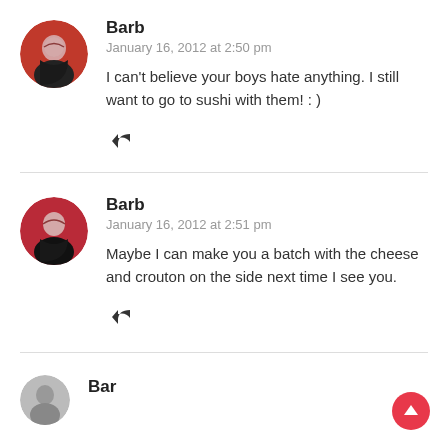Barb
January 16, 2012 at 2:50 pm
I can't believe your boys hate anything. I still want to go to sushi with them! : )
Barb
January 16, 2012 at 2:51 pm
Maybe I can make you a batch with the cheese and crouton on the side next time I see you.